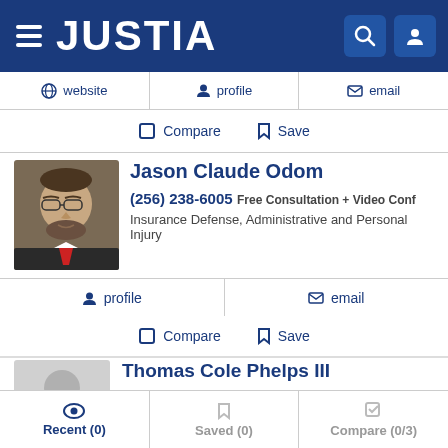JUSTIA
website | profile | email
Compare  Save
Jason Claude Odom
(256) 238-6005  Free Consultation + Video Conf
Insurance Defense, Administrative and Personal Injury
profile  email
Compare  Save
Thomas Cole Phelps III
(256) 975-4320  Free Consultation
Recent (0)  Saved (0)  Compare (0/3)